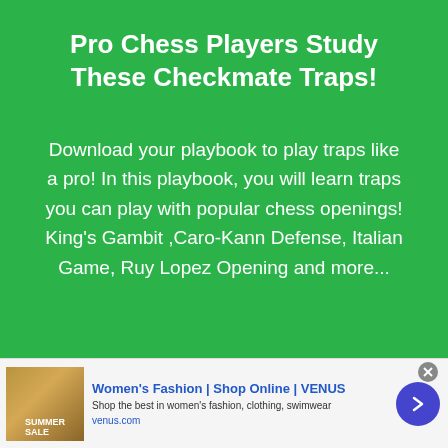Pro Chess Players Study These Checkmate Traps!
Download your playbook to play traps like a pro! In this playbook, you will learn traps you can play with popular chess openings! King's Gambit ,Caro-Kann Defense, Italian Game, Ruy Lopez Opening and more...
[Figure (infographic): Advertisement banner for Women's Fashion Shop Online VENUS with product image, title, description and arrow button]
Women's Fashion | Shop Online | VENUS
Shop the best in women's fashion, clothing, swimwear
venus.com